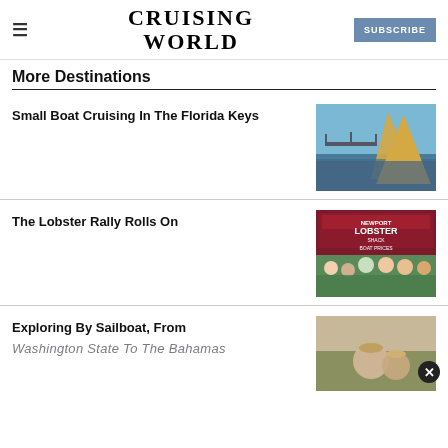CRUISING WORLD | SUBSCRIBE
More Destinations
Small Boat Cruising In The Florida Keys
[Figure (photo): View from sailboat deck with golden sail and bridge in background over blue water]
The Lobster Rally Rolls On
[Figure (photo): Group of people standing in front of Newport Lobster Shack with Boat Prices sign]
Exploring By Sailboat, From Washington State To The Bahamas
[Figure (photo): Partially visible photo of people on a boat]